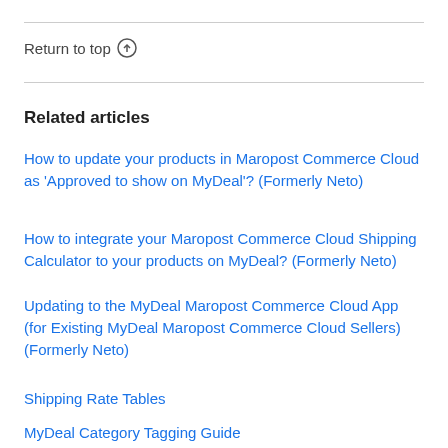Return to top ↑
Related articles
How to update your products in Maropost Commerce Cloud as 'Approved to show on MyDeal'? (Formerly Neto)
How to integrate your Maropost Commerce Cloud Shipping Calculator to your products on MyDeal? (Formerly Neto)
Updating to the MyDeal Maropost Commerce Cloud App (for Existing MyDeal Maropost Commerce Cloud Sellers) (Formerly Neto)
Shipping Rate Tables
MyDeal Category Tagging Guide